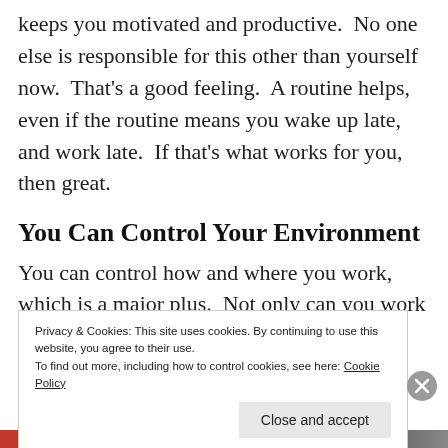keeps you motivated and productive.  No one else is responsible for this other than yourself now.  That's a good feeling.  A routine helps, even if the routine means you wake up late, and work late.  If that's what works for you, then great.
You Can Control Your Environment
You can control how and where you work, which is a major plus.  Not only can you work from home, but if you so choose, a beach in Hawaii.
Privacy & Cookies: This site uses cookies. By continuing to use this website, you agree to their use.
To find out more, including how to control cookies, see here: Cookie Policy